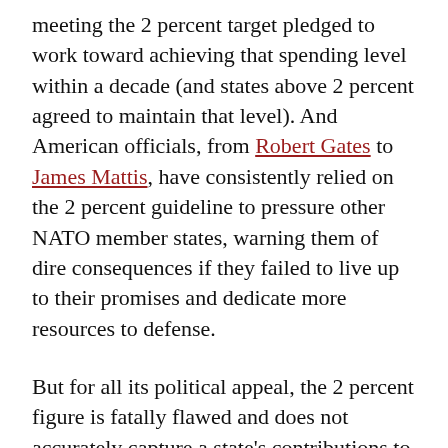meeting the 2 percent target pledged to work toward achieving that spending level within a decade (and states above 2 percent agreed to maintain that level). And American officials, from Robert Gates to James Mattis, have consistently relied on the 2 percent guideline to pressure other NATO member states, warning them of dire consequences if they failed to live up to their promises and dedicate more resources to defense.
But for all its political appeal, the 2 percent figure is fatally flawed and does not accurately capture a state's contributions to all of NATO's operations. First, as a percentage, the...